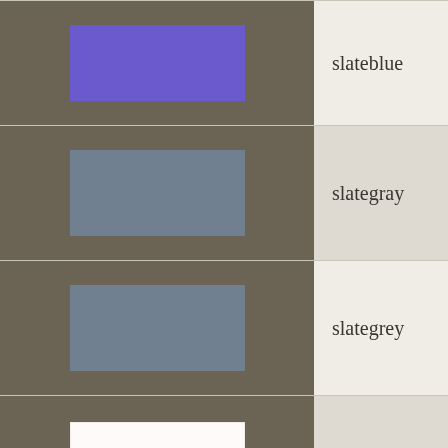| Swatch | Name | Hex | RGB |
| --- | --- | --- | --- |
| [slateblue swatch] | slateblue | #6a5acd | rgb(42… |
| [slategray swatch] | slategray | #708090 | rgb(44… |
| [slategrey swatch] | slategrey | #708090 | rgb(44… |
| [snow swatch] | snow | #fffafa | rgb(10… |
| [springgreen swatch] | springgreen | #00ff7f | rgb(0%… |
| [steelblue swatch] | steelblue | #4682b4 | rgb(27… |
| [tan swatch] | tan | #d2b48c | rgb(2… |